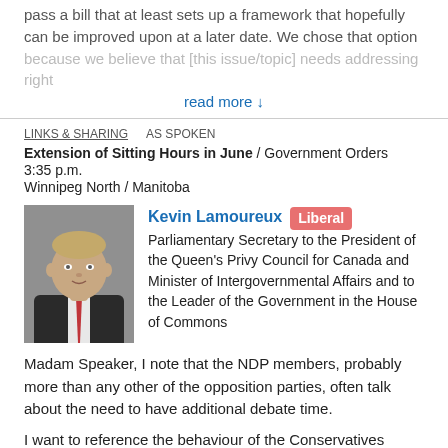pass a bill that at least sets up a framework that hopefully can be improved upon at a later date. We chose that option because we believe that [this issue/topic] needs addressing right
read more ↓
LINKS & SHARING   AS SPOKEN
Extension of Sitting Hours in June / Government Orders
3:35 p.m.
Winnipeg North / Manitoba
[Figure (photo): Portrait photo of Kevin Lamoureux, a middle-aged man in a dark suit and red tie against a grey background]
Kevin Lamoureux  Liberal  Parliamentary Secretary to the President of the Queen's Privy Council for Canada and Minister of Intergovernmental Affairs and to the Leader of the Government in the House of Commons
Madam Speaker, I note that the NDP members, probably more than any other of the opposition parties, often talk about the need to have additional debate time.
I want to reference the behaviour of the Conservatives today, and that is all I am specifically focused on right now. It lasted for about one and a half hours of obstruction at the time...